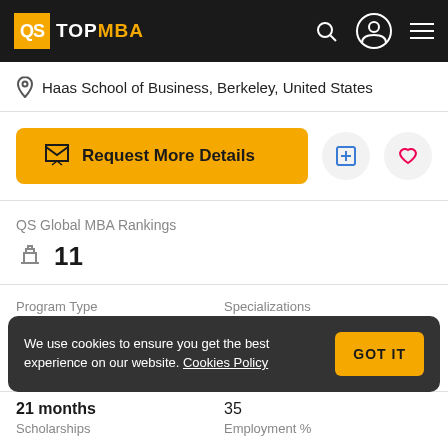QS TOPMBA
Haas School of Business, Berkeley, United States
Request More Details
QS Global MBA Rankings
11
Program Type
Specializations
We use cookies to ensure you get the best experience on our website. Cookies Policy
GOT IT
21 months
35
Scholarships
Employment %